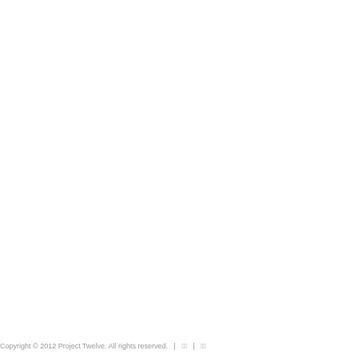Copyright © 2012 Project Twelve. All rights reserved.   |   □□□□   |   □□□□